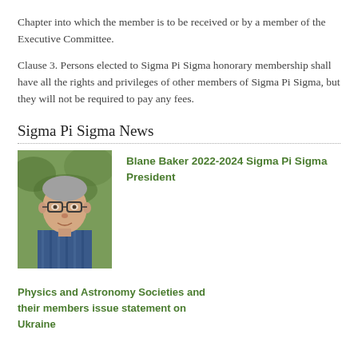Chapter into which the member is to be received or by a member of the Executive Committee.
Clause 3. Persons elected to Sigma Pi Sigma honorary membership shall have all the rights and privileges of other members of Sigma Pi Sigma, but they will not be required to pay any fees.
Sigma Pi Sigma News
[Figure (photo): Portrait photo of Blane Baker, an older man with glasses wearing a blue striped shirt, outdoors with green background]
Blane Baker 2022-2024 Sigma Pi Sigma President
Physics and Astronomy Societies and their members issue statement on Ukraine